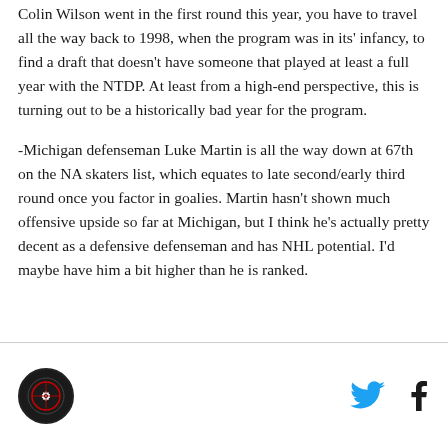Colin Wilson went in the first round this year, you have to travel all the way back to 1998, when the program was in its' infancy, to find a draft that doesn't have someone that played at least a full year with the NTDP. At least from a high-end perspective, this is turning out to be a historically bad year for the program.
-Michigan defenseman Luke Martin is all the way down at 67th on the NA skaters list, which equates to late second/early third round once you factor in goalies. Martin hasn't shown much offensive upside so far at Michigan, but I think he's actually pretty decent as a defensive defenseman and has NHL potential. I'd maybe have him a bit higher than he is ranked.
[Figure (logo): Circular logo with dark background and red/white emblem, social media icons (Twitter, Facebook) to the right]